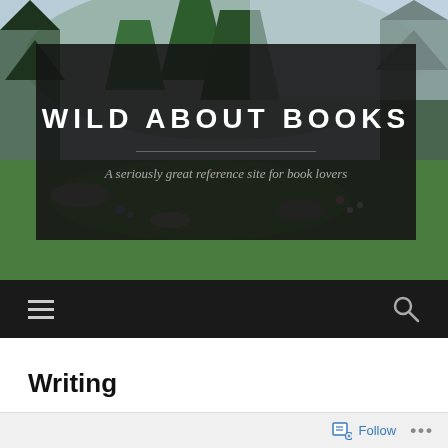[Figure (photo): Nature landscape background with forest, pine trees, rocks and wildflowers in a mountain meadow]
WILD ABOUT BOOKS
A seriously great reference site for book lovers
[Figure (infographic): Dark navigation bar with hamburger menu icon on left and search magnifying glass icon on right]
Writing
Follow ...